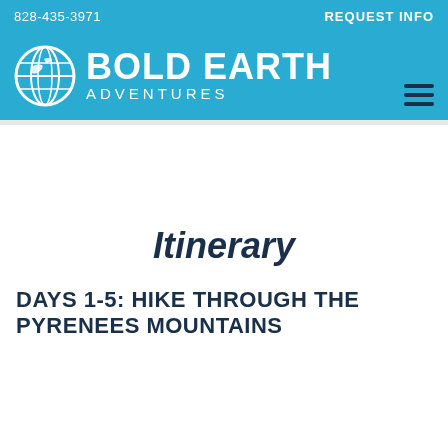828-435-3971   REQUEST INFO
[Figure (logo): Bold Earth Adventures logo with globe icon, white text on blue background]
Itinerary
DAYS 1-5: HIKE THROUGH THE PYRENEES MOUNTAINS